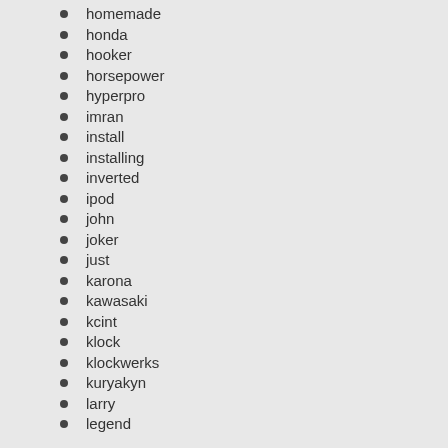homemade
honda
hooker
horsepower
hyperpro
imran
install
installing
inverted
ipod
john
joker
just
karona
kawasaki
kcint
klock
klockwerks
kuryakyn
larry
legend